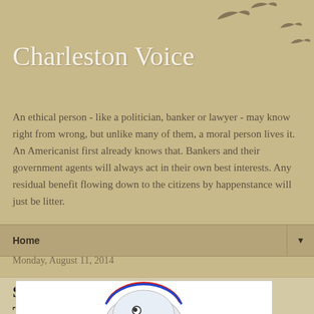Charleston Voice
An ethical person - like a politician, banker or lawyer - may know right from wrong, but unlike many of them, a moral person lives it. An Americanist first already knows that. Bankers and their government agents will always act in their own best interests. Any residual benefit flowing down to the citizens by happenstance will just be litter.
Home ▼
Monday, August 11, 2014
Swiss Kid Explains Ukrainian Gold Transport By US
[Figure (illustration): Partial view of a cartoon character, appears to be Snoopy or similar character with a helmet, red and blue semicircle arc above]